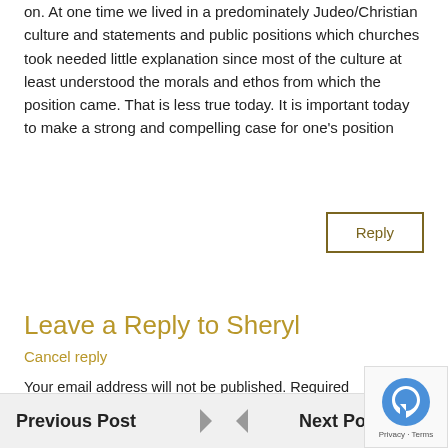on. At one time we lived in a predominately Judeo/Christian culture and statements and public positions which churches took needed little explanation since most of the culture at least understood the morals and ethos from which the position came. That is less true today. It is important today to make a strong and compelling case for one's position
Reply
Leave a Reply to Sheryl
Cancel reply
Your email address will not be published. Required fields are marked *
Previous Post   Next Po...